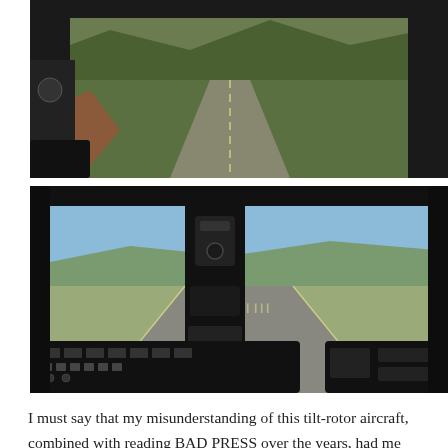[Figure (photo): Aerial view from cockpit of tilt-rotor aircraft (V-22 Osprey) showing landscape below with mountains and road]
[Figure (photo): View from cockpit of V-22 Osprey aircraft looking down runway on approach to landing, showing instrument panel in foreground]
I must say that my misunderstanding of this tilt-rotor aircraft, combined with reading BAD PRESS over the years, had me skeptical of the design and capabilities of the Osprey. I truly have a new found respect for the Osprey.  Its capabilities far exceed anything I could have